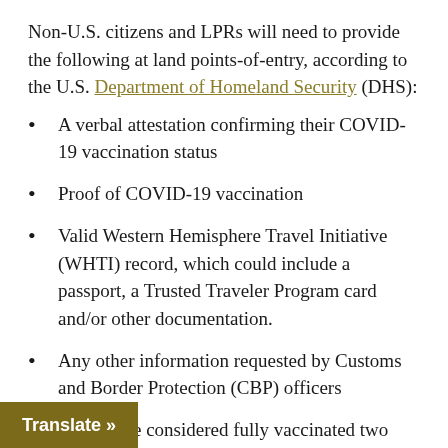Non-U.S. citizens and LPRs will need to provide the following at land points-of-entry, according to the U.S. Department of Homeland Security (DHS):
A verbal attestation confirming their COVID-19 vaccination status
Proof of COVID-19 vaccination
Valid Western Hemisphere Travel Initiative (WHTI) record, which could include a passport, a Trusted Traveler Program card and/or other documentation.
Any other information requested by Customs and Border Protection (CBP) officers
Individuals are considered fully vaccinated two weeks after receiving the recommended dose(s) of vaccines that are authorized by the Food and Drug Administration emergency use by the World Health